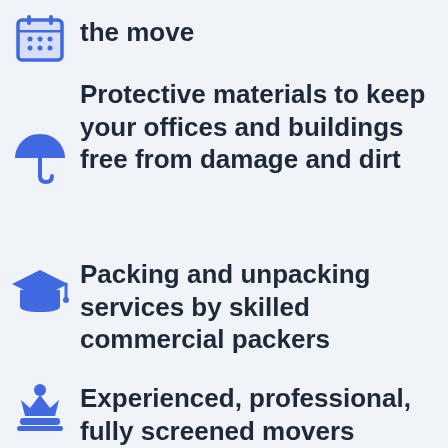the move
Protective materials to keep your offices and buildings free from damage and dirt
Packing and unpacking services by skilled commercial packers
Experienced, professional, fully screened movers